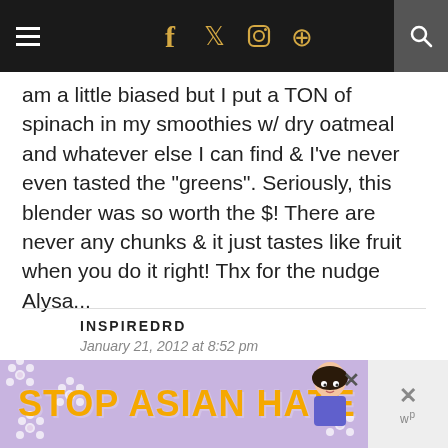Navigation bar with hamburger menu, social icons (Facebook, Twitter, Instagram, Pinterest), and search
am a little biased but I put a TON of spinach in my smoothies w/ dry oatmeal and whatever else I can find & I've never even tasted the "greens". Seriously, this blender was so worth the $! There are never any chunks & it just tastes like fruit when you do it right! Thx for the nudge Alysa...
INSPIREDRD
January 21, 2012 at 8:52 pm
Thanks for buying it sweetie 🙂
[Figure (infographic): Stop Asian Hate advertisement banner with purple background, white flowers, orange bold text, and anime girl character]